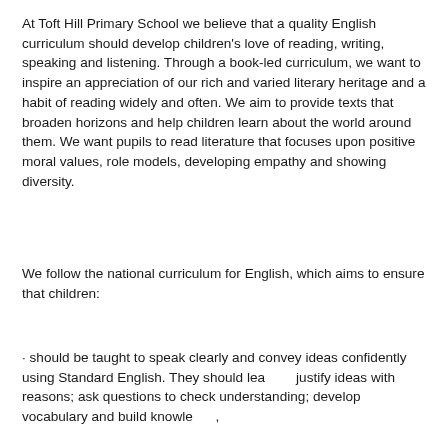At Toft Hill Primary School we believe that a quality English curriculum should develop children's love of reading, writing, speaking and listening. Through a book-led curriculum, we want to inspire an appreciation of our rich and varied literary heritage and a habit of reading widely and often. We aim to provide texts that broaden horizons and help children learn about the world around them. We want pupils to read literature that focuses upon positive moral values, role models, developing empathy and showing diversity.
We follow the national curriculum for English, which aims to ensure that children:
· should be taught to speak clearly and convey ideas confidently using Standard English. They should learn to justify ideas with reasons; ask questions to check understanding; develop vocabulary and build knowledge;